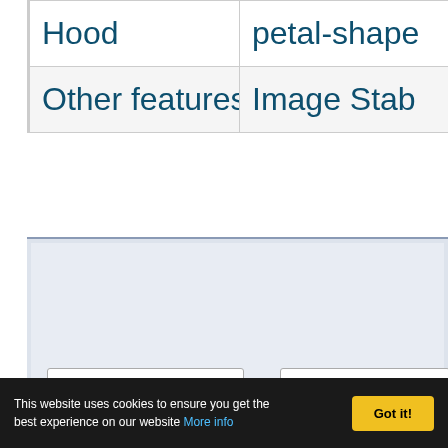| Hood | petal-shape |
| Other features | Image Stab |
[Figure (other): Gray/blue shaded rectangular box, possibly an advertisement or content placeholder]
This website uses cookies to ensure you get the best experience on our website More info   Got it!